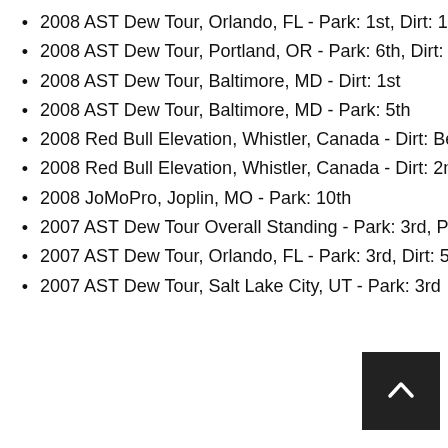2008 AST Dew Tour, Orlando, FL - Park: 1st, Dirt: 10th
2008 AST Dew Tour, Portland, OR - Park: 6th, Dirt: 6th
2008 AST Dew Tour, Baltimore, MD - Dirt: 1st
2008 AST Dew Tour, Baltimore, MD - Park: 5th
2008 Red Bull Elevation, Whistler, Canada - Dirt: Best Trick
2008 Red Bull Elevation, Whistler, Canada - Dirt: 2nd
2008 JoMoPro, Joplin, MO - Park: 10th
2007 AST Dew Tour Overall Standing - Park: 3rd, Park: 1st
2007 AST Dew Tour, Orlando, FL - Park: 3rd, Dirt: 5th
2007 AST Dew Tour, Salt Lake City, UT - Park: 3rd